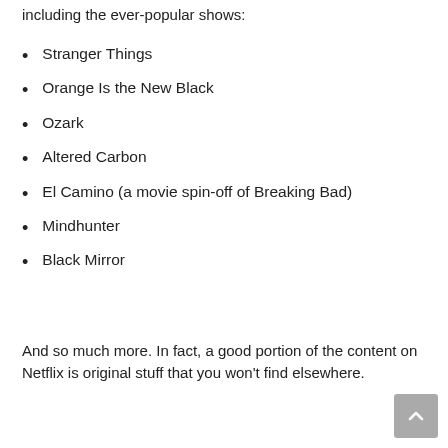including the ever-popular shows:
Stranger Things
Orange Is the New Black
Ozark
Altered Carbon
El Camino (a movie spin-off of Breaking Bad)
Mindhunter
Black Mirror
And so much more. In fact, a good portion of the content on Netflix is original stuff that you won't find elsewhere.